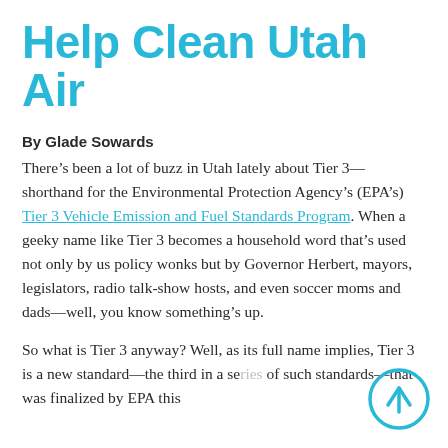Help Clean Utah Air
By Glade Sowards
There’s been a lot of buzz in Utah lately about Tier 3—shorthand for the Environmental Protection Agency’s (EPA’s) Tier 3 Vehicle Emission and Fuel Standards Program. When a geeky name like Tier 3 becomes a household word that’s used not only by us policy wonks but by Governor Herbert, mayors, legislators, radio talk-show hosts, and even soccer moms and dads—well, you know something’s up.
So what is Tier 3 anyway? Well, as its full name implies, Tier 3 is a new standard—the third in a series of such standards—that was finalized by EPA this